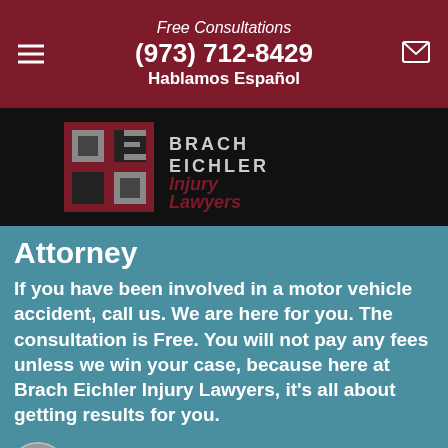Free Consultations
(973) 712-8429
Hablamos Español
[Figure (logo): Brach Eichler Injury Lawyers logo — stylized 'BE' grid icon in dark red and gray, with text 'BRACH EICHLER Injury Lawyers']
Attorney
If you have been involved in a motor vehicle accident, call us. We are here for you. The consultation is Free. You will not pay any fees unless we win your case, because here at Brach Eichler Injury Lawyers, it's all about getting results for you.